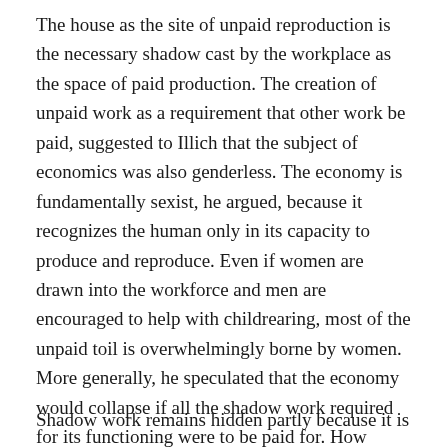The house as the site of unpaid reproduction is the necessary shadow cast by the workplace as the space of paid production. The creation of unpaid work as a requirement that other work be paid, suggested to Illich that the subject of economics was also genderless. The economy is fundamentally sexist, he argued, because it recognizes the human only in its capacity to produce and reproduce. Even if women are drawn into the workforce and men are encouraged to help with childrearing, most of the unpaid toil is overwhelmingly borne by women. More generally, he speculated that the economy would collapse if all the shadow work required for its functioning were to be paid for. How much would Facebook be worth if its users were paid for their efforts to produce content and consume advertisements?
Shadow work remains hidden partly because it is